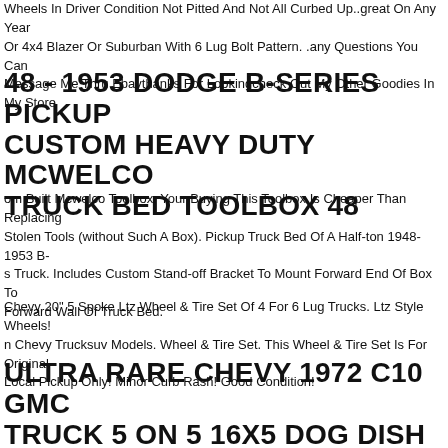Wheels In Driver Condition Not Pitted And Not All Curbed Up..great On Any Year Or 4x4 Blazer Or Suburban With 6 Lug Bolt Pattern. .any Questions You Can Message Me Thru Ebaythanks For Lookingcheck Out My Other Goodies In My Store
48 - 1953 DODGE B-SERIES PICKUP CUSTOM HEAVY DUTY MCWELCO TRUCK BED TOOLBOX 48
om Built Mcwelco Toolbox. Your Buying This Toolbox Is Cheaper Than Replacing Stolen Tools (without Such A Box). Pickup Truck Bed Of A Half-ton 1948-1953 B- s Truck. Includes Custom Stand-off Bracket To Mount Forward End Of Box To Forward Wall Of Truck Bed.
Chevy 20" 5 Spoke Ltz Wheel & Tire Set Of 4 For 6 Lug Trucks. Ltz Style Wheels! n Chevy Trucksuv Models. Wheel & Tire Set. This Wheel & Tire Set Is For Original Local Pickup Only! Minor Curb Rash! Good Condition!
ULTRA RARE CHEVY 1972 C10 GMC TRUCK 5 ON 5 16X5 DOG DISH WHEELS POWER COATED